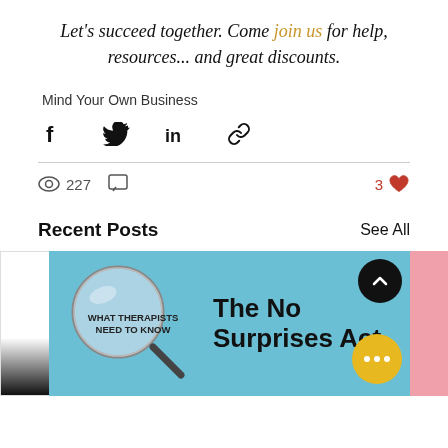Let's succeed together. Come join us for help, resources... and great discounts.
Mind Your Own Business
[Figure (other): Social share icons: Facebook, Twitter, LinkedIn, Link]
227 views, 3 likes
Recent Posts
See All
[Figure (photo): Blog post thumbnail showing a magnifying glass on blue background with text 'WHAT THERAPISTS NEED TO KNOW' and 'The No Surprises Act']